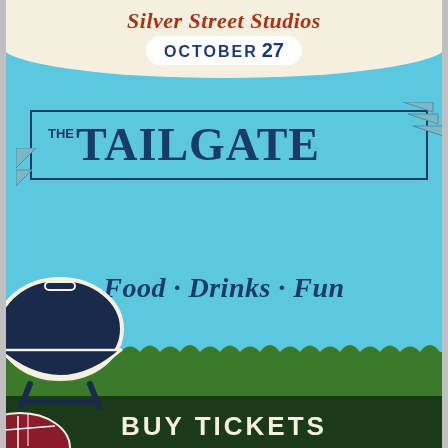Silver Street Studios
OCTOBER 27
THE TAILGATE
Food · Drinks · Fun
BUY TICKETS
[Figure (illustration): Illustration of a dark navy BBQ grill kettle with cream outline at bottom left, grass strip in green, and a partial football/shoe at lower left corner]